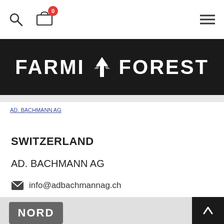Farmi Forest — navigation bar with search, cart (0), and menu
[Figure (logo): FARMI FOREST logo in white bold uppercase text on black background with tree/arrow icon]
AD. BACHMANN AG
SWITZERLAND
AD. BACHMANN AG
info@adbachmannag.ch
+41 71 918 80 20
www.adbachmannag.ch
[Figure (logo): NORD logo in white bold text on dark gray/charcoal rounded rectangle badge, partially visible at bottom]